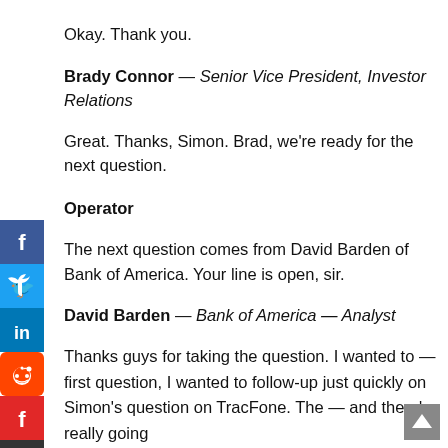Okay. Thank you.
Brady Connor — Senior Vice President, Investor Relations
Great. Thanks, Simon. Brad, we're ready for the next question.
Operator
The next question comes from David Barden of Bank of America. Your line is open, sir.
David Barden — Bank of America — Analyst
Thanks guys for taking the question. I wanted to — first question, I wanted to follow-up just quickly on Simon's question on TracFone. The — and there's really going